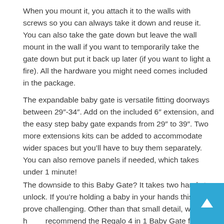When you mount it, you attach it to the walls with screws so you can always take it down and reuse it. You can also take the gate down but leave the wall mount in the wall if you want to temporarily take the gate down but put it back up later (if you want to light a fire). All the hardware you might need comes included in the package.
The expandable baby gate is versatile fitting doorways between 29"-34". Add on the included 6" extension, and the easy step baby gate expands from 29" to 39". Two more extensions kits can be added to accommodate wider spaces but you'll have to buy them separately. You can also remove panels if needed, which takes under 1 minute!
The downside to this Baby Gate? It takes two hands to unlock. If you're holding a baby in your hands this may prove challenging. Other than that small detail, we highly recommend the Regalo 4 in 1 Baby Gate for Childproofing your...